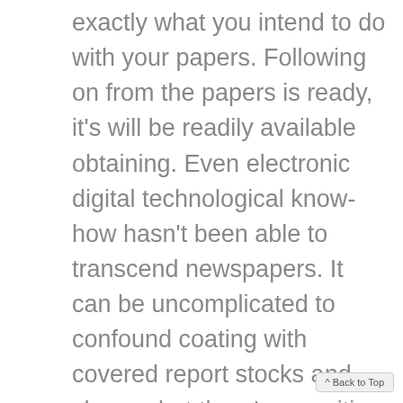exactly what you intend to do with your papers. Following on from the papers is ready, it's will be readily available obtaining. Even electronic digital technological know-how hasn't been able to transcend newspapers. It can be uncomplicated to confound coating with covered report stocks and shares, but there's a positive change. Every section of the old fashioned paper is much like somebody arrow. You don't desire to have an novice to great buy in your cardstock, which will verify your long term future. In still other conditions, you might want to write your entire paper without help, and may even just require a
^ Back to Top